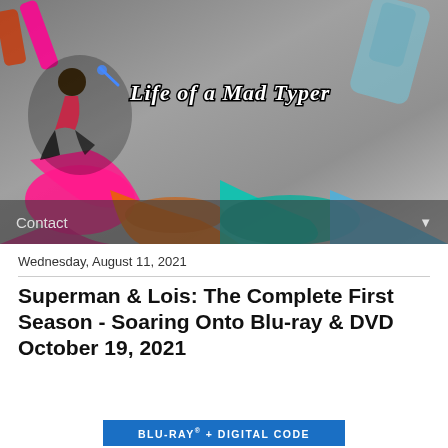[Figure (photo): Website header banner for 'Life of a Mad Typer' blog showing colorful nail polish bottles and splashes of pink, orange, teal, and blue nail polish on a grey background. A logo with a cartoon woman figure and stylized gothic text reading 'Life of a Mad Typer' is overlaid on the left side.]
Contact ▼
Wednesday, August 11, 2021
Superman & Lois: The Complete First Season - Soaring Onto Blu-ray & DVD October 19, 2021
[Figure (other): Blue button/banner with white text reading 'BLU-RAY + DIGITAL CODE']